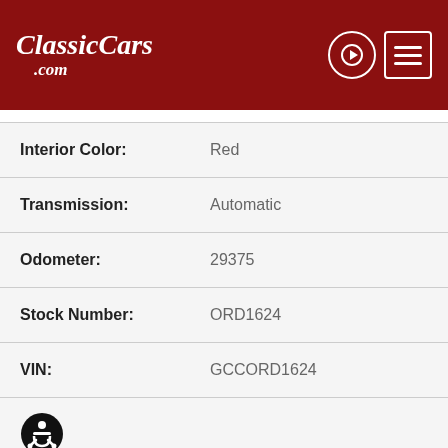ClassicCars.com
| Field | Value |
| --- | --- |
| Interior Color: | Red |
| Transmission: | Automatic |
| Odometer: | 29375 |
| Stock Number: | ORD1624 |
| VIN: | GCCORD1624 |